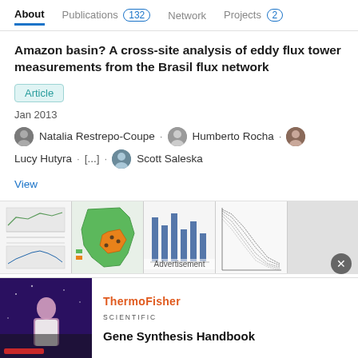About  Publications 132  Network  Projects 2
Amazon basin? A cross-site analysis of eddy flux tower measurements from the Brasil flux network
Article
Jan 2013
Natalia Restrepo-Coupe · Humberto Rocha · Lucy Hutyra · [...] · Scott Saleska
View
[Figure (other): Row of five small figure thumbnails from the article, with an Advertisement overlay on the third thumbnail]
ThermoFisher Scientific
Gene Synthesis Handbook